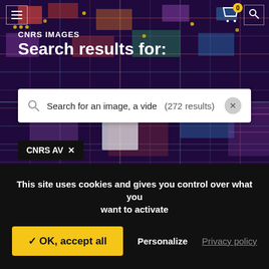[Figure (screenshot): CNRS Images website screenshot showing a circuit board background with search results header, search box showing '(272 results)', a tag 'CNRS AV', and a cookie consent overlay at the bottom.]
CNRS IMAGES
Search results for:
Search for an image, a vide   (272 results)
CNRS AV ×
(272)   (272)
This site uses cookies and gives you control over what you want to activate
✓ OK, accept all
Personalize
Privacy policy